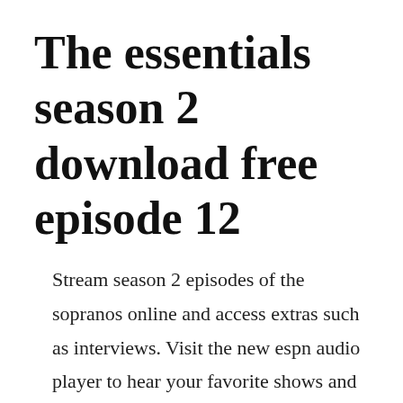The essentials season 2 download free episode 12
Stream season 2 episodes of the sopranos online and access extras such as interviews. Visit the new espn audio player to hear your favorite shows and podcasts. Its playing an episode from way earlier i havent bothered to